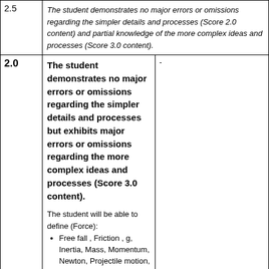| Score | Description |  |
| --- | --- | --- |
| 2.5 | The student demonstrates no major errors or omissions regarding the simpler details and processes (Score 2.0 content) and partial knowledge of the more complex ideas and processes (Score 3.0 content). |  |
| 2.0 | The student demonstrates no major errors or omissions regarding the simpler details and processes but exhibits major errors or omissions regarding the more complex ideas and processes (Score 3.0 content).

The student will be able to define (Force):
• Free fall , Friction , g, Inertia, Mass, Momentum, Newton, Projectile motion, Terminal velocity, Weight

The student will be able to define (Work and Energy):
• Compound machine, Energy, Fulcrum, Mechanical advantage, Power, Watt | - |